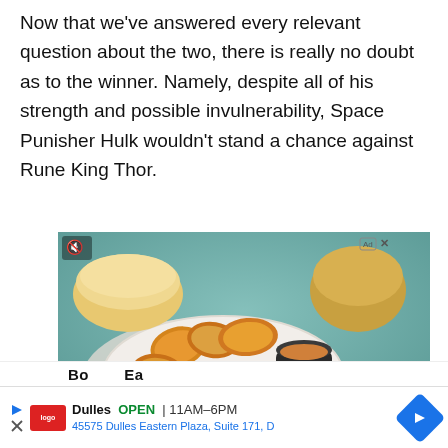Now that we've answered every relevant question about the two, there is really no doubt as to the winner. Namely, despite all of his strength and possible invulnerability, Space Punisher Hulk wouldn't stand a chance against Rune King Thor.
[Figure (photo): Advertisement showing a plate of fried chicken nuggets with dipping sauce and bread rolls in the background, on a teal/green surface with a napkin. Has a mute icon top-left and Ad/X badge top-right.]
Dulles  OPEN  11AM–6PM
45575 Dulles Eastern Plaza, Suite 171, D